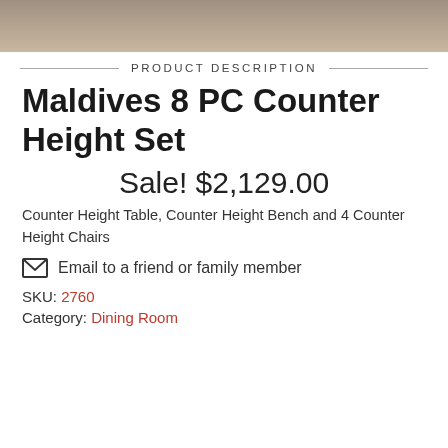[Figure (photo): Partial product photo showing furniture legs on a rug]
PRODUCT DESCRIPTION
Maldives 8 PC Counter Height Set
Sale! $2,129.00
Counter Height Table, Counter Height Bench and 4 Counter Height Chairs
Email to a friend or family member
SKU: 2760
Category: Dining Room